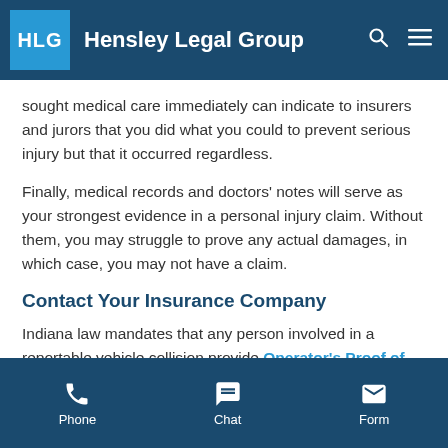Hensley Legal Group
sought medical care immediately can indicate to insurers and jurors that you did what you could to prevent serious injury but that it occurred regardless.
Finally, medical records and doctors' notes will serve as your strongest evidence in a personal injury claim. Without them, you may struggle to prove any actual damages, in which case, you may not have a claim.
Contact Your Insurance Company
Indiana law mandates that any person involved in a reportable vehicle collision provide Operator's Proof of
Phone  Chat  Form